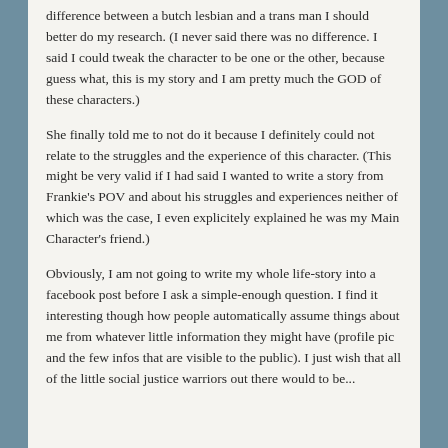difference between a butch lesbian and a trans man I should better do my research. (I never said there was no difference. I said I could tweak the character to be one or the other, because guess what, this is my story and I am pretty much the GOD of these characters.)
She finally told me to not do it because I definitely could not relate to the struggles and the experience of this character. (This might be very valid if I had said I wanted to write a story from Frankie's POV and about his struggles and experiences neither of which was the case, I even explicitely explained he was my Main Character's friend.)
Obviously, I am not going to write my whole life-story into a facebook post before I ask a simple-enough question. I find it interesting though how people automatically assume things about me from whatever little information they might have (profile pic and the few infos that are visible to the public). I just wish that all of the little social justice warriors out there would to be...